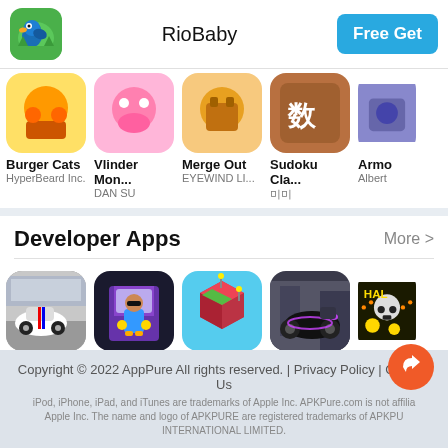[Figure (screenshot): App store page showing RioBaby app header with icon, title, and Free Get button]
RioBaby
Free Get
Burger Cats
HyperBeard Inc.
Vlinder Mon...
DAN SU
Merge Out
EYEWIND LI...
Sudoku Cla...
미미
Armo
Albert
Developer Apps
More >
[Figure (photo): Racing game icon showing white Porsche sports car on track]
Speedway ...
Racing
[Figure (photo): Arcade game icon showing animated character in urban setting]
Santa Fe R...
Arcade
[Figure (photo): Arcade game icon showing isometric colorful path-building game]
Chellam
Arcade
[Figure (photo): Simulation game icon showing black motorcycle]
Supersport ...
Simulation
[Figure (photo): Adventure game icon with Halloween theme showing skull and gold coins]
Hallo
Adven
Copyright © 2022 AppPure All rights reserved. | Privacy Policy | Contact Us
iPod, iPhone, iPad, and iTunes are trademarks of Apple Inc. APKPure.com is not affiliated with Apple Inc. The name and logo of APKPURE are registered trademarks of APKPURE INTERNATIONAL LIMITED.